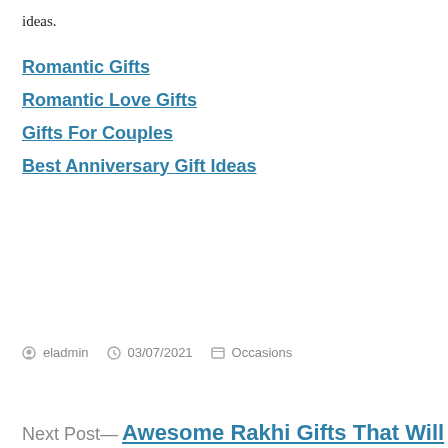ideas.
Romantic Gifts
Romantic Love Gifts
Gifts For Couples
Best Anniversary Gift Ideas
Posted by eladmin   03/07/2021   Occasions
Next Post—
Awesome Rakhi Gifts That Will